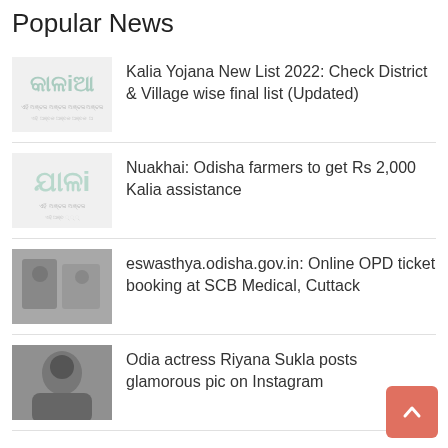Popular News
Kalia Yojana New List 2022: Check District & Village wise final list (Updated)
Nuakhai: Odisha farmers to get Rs 2,000 Kalia assistance
eswasthya.odisha.gov.in: Online OPD ticket booking at SCB Medical, Cuttack
Odia actress Riyana Sukla posts glamorous pic on Instagram